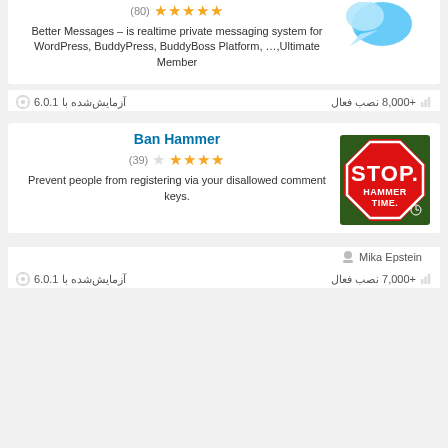(80) ★★★★★
Better Messages – is realtime private messaging system for WordPress, BuddyPress, BuddyBoss Platform, …,Ultimate Member
WordPlus
+8,000 نصب فعال
آزمایش‌شده با 6.0.1
Ban Hammer
(39) ★★★★★
Prevent people from registering via your disallowed comment keys.
[Figure (photo): Red octagonal STOP sign with 'HAMMER TIME.' written on it]
Mika Epstein
+7,000 نصب فعال
آزمایش‌شده با 6.0.1